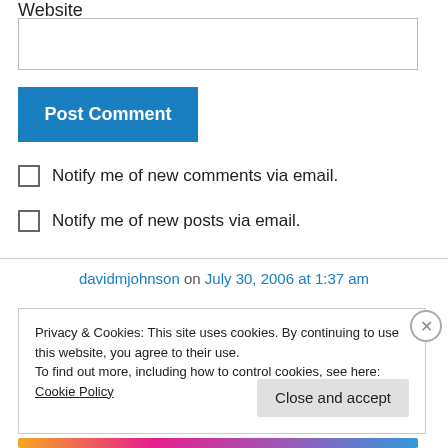Website
[Figure (screenshot): Empty text input box for website URL]
Post Comment
Notify me of new comments via email.
Notify me of new posts via email.
davidmjohnson on July 30, 2006 at 1:37 am
Privacy & Cookies: This site uses cookies. By continuing to use this website, you agree to their use. To find out more, including how to control cookies, see here: Cookie Policy
Close and accept